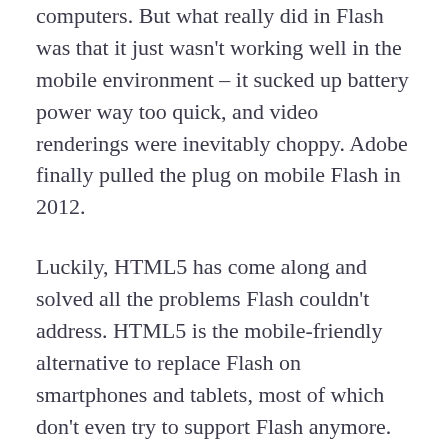computers. But what really did in Flash was that it just wasn't working well in the mobile environment – it sucked up battery power way too quick, and video renderings were inevitably choppy. Adobe finally pulled the plug on mobile Flash in 2012.
Luckily, HTML5 has come along and solved all the problems Flash couldn't address. HTML5 is the mobile-friendly alternative to replace Flash on smartphones and tablets, most of which don't even try to support Flash anymore. This means if you really want to deliver rich eLearning content to mobile users, HTML5 is the only way to go. The nice thing is that it's a single programming language that adapts to all different screen sizes, and keeps content as visually awesome as it is on